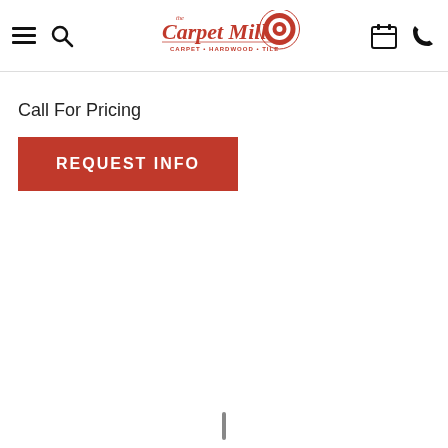[Figure (logo): The Carpet Mill logo with circular target icon, text 'the Carpet Mill' in red script, tagline 'CARPET • HARDWOOD • TILE' in red]
Call For Pricing
REQUEST INFO